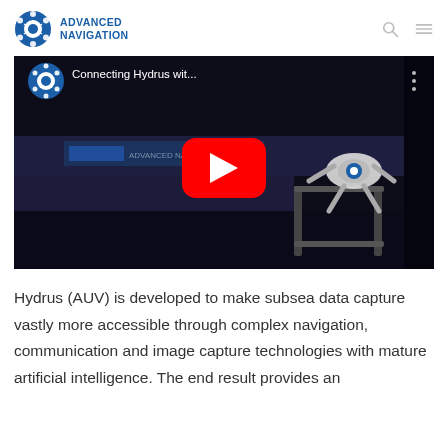ADVANCED NAVIGATION
[Figure (screenshot): YouTube video thumbnail showing 'Connecting Hydrus wit...' with Advanced Navigation logo, red play button, and robotic AUV device on a dark background]
Hydrus (AUV) is developed to make subsea data capture vastly more accessible through complex navigation, communication and image capture technologies with mature artificial intelligence. The end result provides an